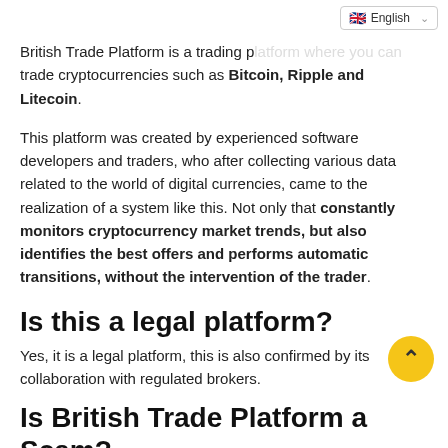English
British Trade Platform is a trading platform where you can trade cryptocurrencies such as Bitcoin, Ripple and Litecoin.
This platform was created by experienced software developers and traders, who after collecting various data related to the world of digital currencies, came to the realization of a system like this. Not only that constantly monitors cryptocurrency market trends, but also identifies the best offers and performs automatic transitions, without the intervention of the trader.
Is this a legal platform?
Yes, it is a legal platform, this is also confirmed by its collaboration with regulated brokers.
Is British Trade Platform a Scam?
No it's a scam, it's a legitimate platform but we advise new